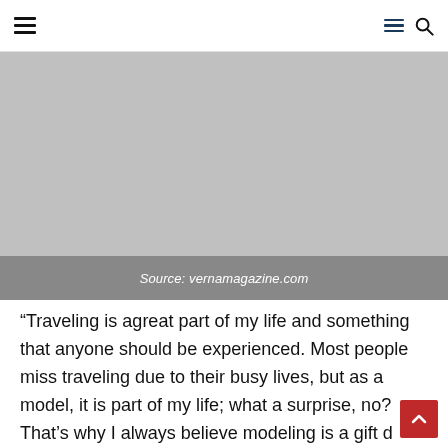Navigation bar with hamburger menu icons and search icon
[Figure (photo): Gray placeholder image area with a source caption bar at the bottom reading 'Source: vernamagazine.com']
Source: vernamagazine.com
“Traveling is agreat part of my life and something that anyone should be experienced. Most people miss traveling due to their busy lives, but as a model, it is part of my life; what a surprise, no? That’s why I always believe modeling is a gift d